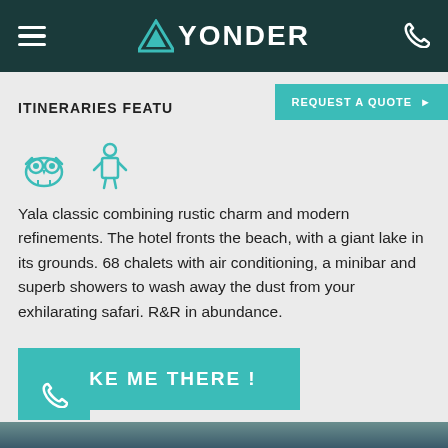MYONDER
ITINERARIES FEATU... REQUEST A QUOTE ▶
[Figure (illustration): Two teal icons: an owl/binoculars icon and a person/guide icon]
Yala classic combining rustic charm and modern refinements. The hotel fronts the beach, with a giant lake in its grounds. 68 chalets with air conditioning, a minibar and superb showers to wash away the dust from your exhilarating safari. R&R in abundance.
TAKE ME THERE !